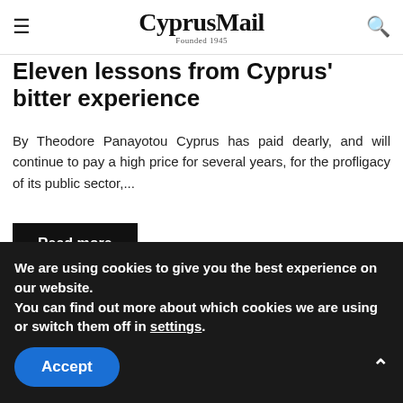CyprusMail — Founded 1945
Eleven lessons from Cyprus' bitter experience
By Theodore Panayotou Cyprus has paid dearly, and will continue to pay a high price for several years, for the profligacy of its public sector,...
Read more
[Figure (photo): Photo showing ICFCBS signage on a building with wooden/brown architectural elements on the left and right sides]
We are using cookies to give you the best experience on our website.
You can find out more about which cookies we are using or switch them off in settings.
Accept